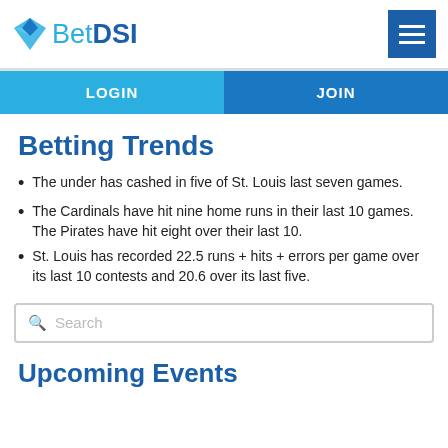BetDSI
LOGIN
JOIN
Betting Trends
The under has cashed in five of St. Louis last seven games.
The Cardinals have hit nine home runs in their last 10 games. The Pirates have hit eight over their last 10.
St. Louis has recorded 22.5 runs + hits + errors per game over its last 10 contests and 20.6 over its last five.
Search
Upcoming Events